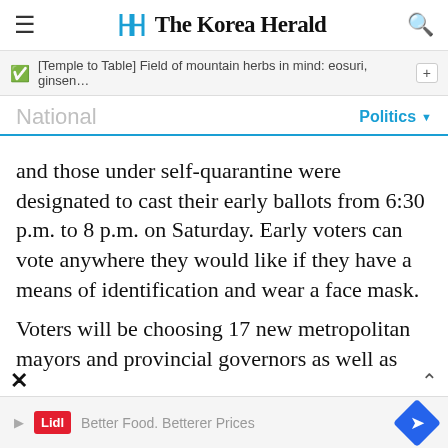The Korea Herald
[Temple to Table] Field of mountain herbs in mind: eosuri, ginsen…
National
Politics
and those under self-quarantine were designated to cast their early ballots from 6:30 p.m. to 8 p.m. on Saturday. Early voters can vote anywhere they would like if they have a means of identification and wear a face mask.
Voters will be choosing 17 new metropolitan mayors and provincial governors as well as
Better Food. Betterer Prices